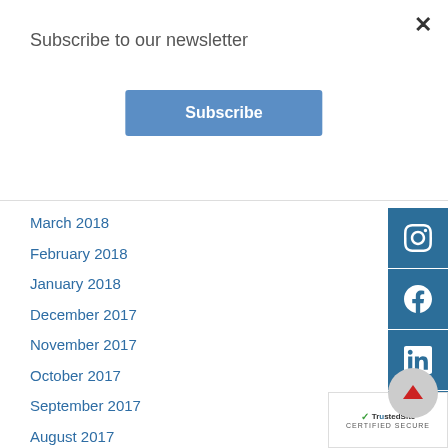Subscribe to our newsletter
[Figure (screenshot): Blue Subscribe button]
March 2018
February 2018
January 2018
December 2017
November 2017
October 2017
September 2017
August 2017
July 2017
June 2017
May 2017
[Figure (infographic): Social media icons sidebar: Instagram, Facebook, LinkedIn, Email]
[Figure (logo): TrustedSite CERTIFIED SECURE badge]